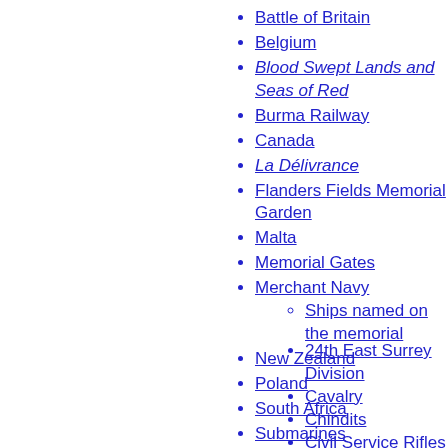Australia
Battle of Britain
Belgium
Blood Swept Lands and Seas of Red
Burma Railway
Canada
La Délivrance
Flanders Fields Memorial Garden
Malta
Memorial Gates
Merchant Navy
Ships named on the memorial
New Zealand
Poland
South Africa
Submarines
Women of World War II
24th East Surrey Division
Cavalry
Chindits
Civil Service Rifles